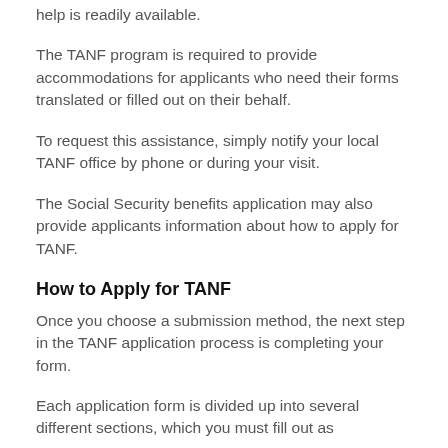help is readily available.
The TANF program is required to provide accommodations for applicants who need their forms translated or filled out on their behalf.
To request this assistance, simply notify your local TANF office by phone or during your visit.
The Social Security benefits application may also provide applicants information about how to apply for TANF.
How to Apply for TANF
Once you choose a submission method, the next step in the TANF application process is completing your form.
Each application form is divided up into several different sections, which you must fill out as